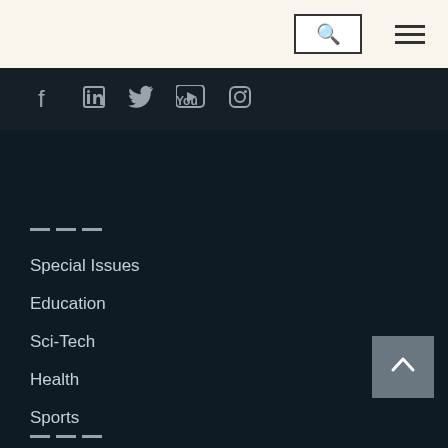[Figure (screenshot): Website header with search icon button and hamburger menu icon on a cream/beige background]
[Figure (screenshot): Social media icons row: Facebook, LinkedIn, Twitter, YouTube, Instagram on dark background]
Special Issues
Education
Sci-Tech
Health
Sports
Entertainment
Others
[Figure (screenshot): Back to top button with upward arrow chevron, gray square button in bottom right corner]